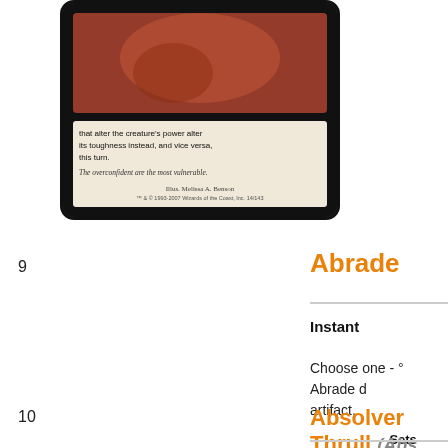[Figure (photo): Magic: The Gathering card image showing a red-bordered card with rules text and illustration by Melissa A. Benson]
9
Abrade
Instant
Choose one - ° Abrade d artifact.
Sets
Rarity
10
Absolver Thrull (Abs